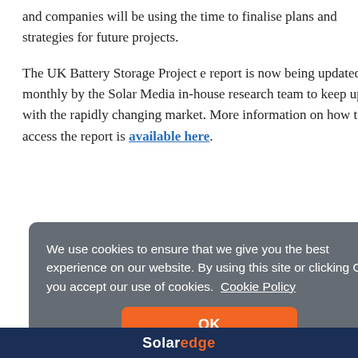and companies will be using the time to finalise plans and strategies for future projects.
The UK Battery Storage Project e report is now being updated monthly by the Solar Media in-house research team to keep up with the rapidly changing market. More information on how to access the report is available here.
We use cookies to ensure that we give you the best experience on our website. By using this site or clicking OK you accept our use of cookies. Cookie Policy
OK
[Figure (logo): SolarEdge logo on dark blue background bar at bottom of page]